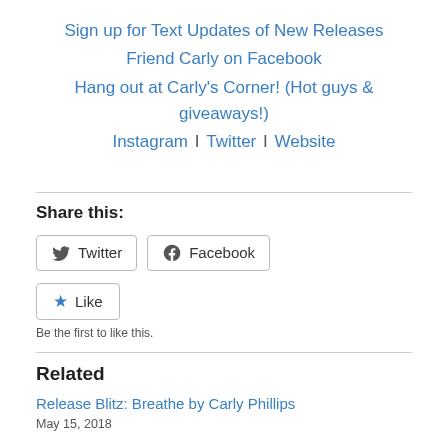Sign up for Text Updates of New Releases
Friend Carly on Facebook
Hang out at Carly's Corner! (Hot guys & giveaways!)
Instagram | Twitter | Website
Share this:
Twitter  Facebook
Like  Be the first to like this.
Related
Release Blitz: Breathe by Carly Phillips
May 15, 2018